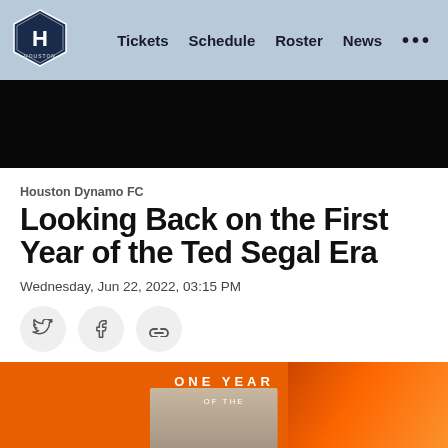Houston Dynamo FC — Tickets | Schedule | Roster | News
[Figure (screenshot): Dark hero image area (black background)]
Houston Dynamo FC
Looking Back on the First Year of the Ted Segal Era
Wednesday, Jun 22, 2022, 03:15 PM
[Figure (illustration): Social share buttons: Twitter, Facebook, Link/chain icon]
[Figure (photo): Orange promotional graphic reading ONE YEAR OF THE with a photo of a man (Ted Segal) in a stadium setting]